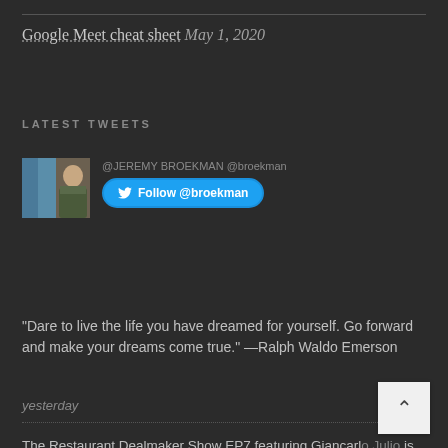Google Meet cheat sheet May 1, 2020
LATEST TWEETS
[Figure (photo): Twitter profile avatar showing a person in a jacket next to a blue background, with a Follow @broekman button]
"Dare to live the life you have dreamed for yourself. Go forward and make your dreams come true." —Ralph Waldo Emerson
yesterday
The Restaurant Dealmaker Show EP7 featuring Giancarlo Julio is NOW LIVE on FB https://t.co/HgMcN6wkMD via… https://t.co/K8r65jp9hw